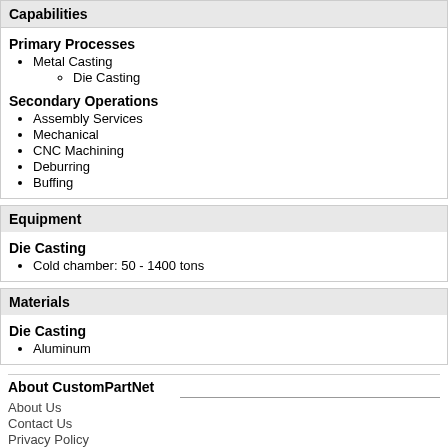Capabilities
Primary Processes
Metal Casting
Die Casting
Secondary Operations
Assembly Services
Mechanical
CNC Machining
Deburring
Buffing
Equipment
Die Casting
Cold chamber: 50 - 1400 tons
Materials
Die Casting
Aluminum
About CustomPartNet
About Us
Contact Us
Privacy Policy